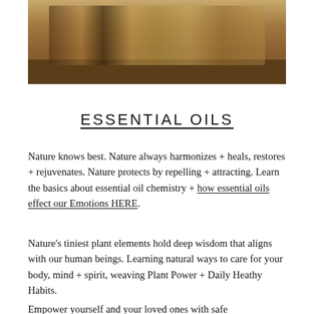[Figure (photo): Multiple small glass bottles with cork stoppers containing various essential oils arranged on a wooden surface, with herbs and a rose visible in the background]
ESSENTIAL OILS
Nature knows best. Nature always harmonizes + heals, restores + rejuvenates. Nature protects by repelling + attracting. Learn the basics about essential oil chemistry + how essential oils effect our Emotions HERE.
Nature's tiniest plant elements hold deep wisdom that aligns with our human beings. Learning natural ways to care for your body, mind + spirit, weaving Plant Power + Daily Heathy Habits.
Empower yourself and your loved ones with safe